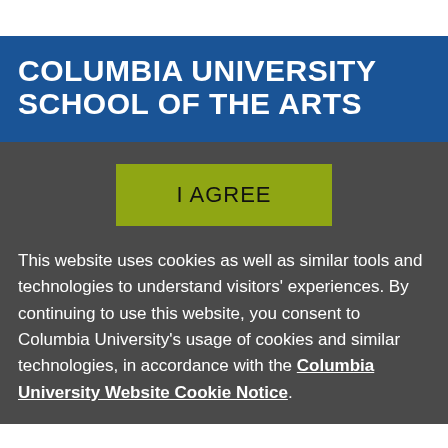COLUMBIA UNIVERSITY SCHOOL OF THE ARTS
[Figure (other): I AGREE button with olive/yellow-green background]
This website uses cookies as well as similar tools and technologies to understand visitors' experiences. By continuing to use this website, you consent to Columbia University's usage of cookies and similar technologies, in accordance with the Columbia University Website Cookie Notice.